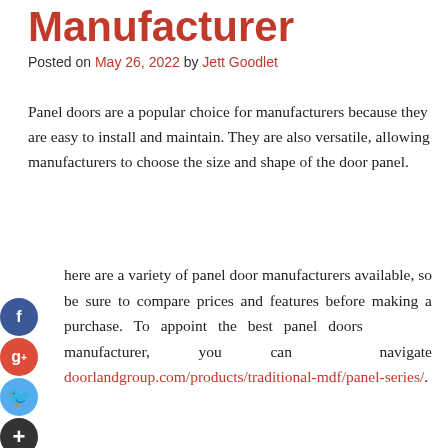Manufacturer
Posted on May 26, 2022 by Jett Goodlet
Panel doors are a popular choice for manufacturers because they are easy to install and maintain. They are also versatile, allowing manufacturers to choose the size and shape of the door panel.
There are a variety of panel door manufacturers available, so be sure to compare prices and features before making a purchase. To appoint the best panel doors manufacturer, you can navigate doorlandgroup.com/products/traditional-mdf/panel-series/.